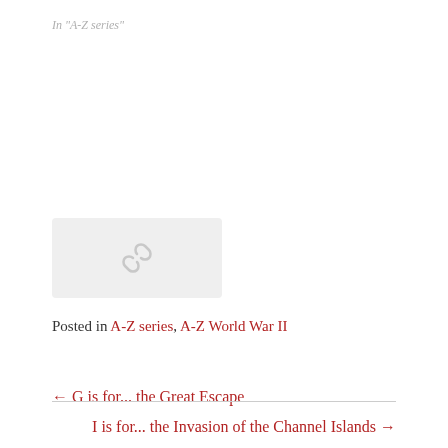In "A-Z series"
[Figure (illustration): Small image placeholder with a broken link/chain icon on a light grey background]
Posted in A-Z series, A-Z World War II
← G is for... the Great Escape
I is for... the Invasion of the Channel Islands →